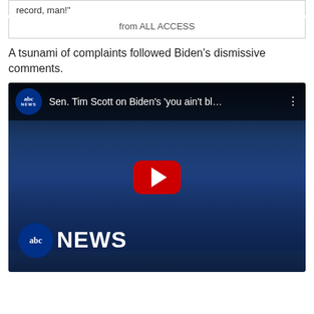record, man!"
from ALL ACCESS
A tsunami of complaints followed Biden’s dismissive comments.
[Figure (screenshot): YouTube video thumbnail from ABC News showing Sen. Tim Scott on Biden's 'you ain't bl...' with a play button overlay and abc NEWS logo at bottom left]